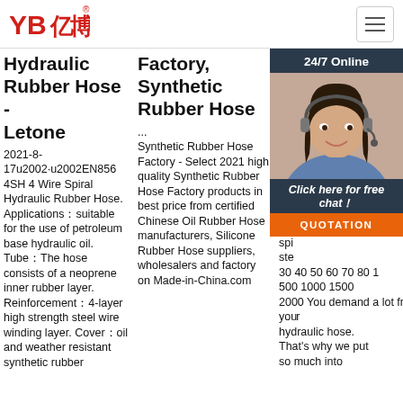[Figure (logo): YB亿博 company logo in red]
Hydraulic Rubber Hose - Letone
2021-8-17u2002·u2002EN856 4SH 4 Wire Spiral Hydraulic Rubber Hose. Applications：suitable for the use of petroleum base hydraulic oil. Tube：The hose consists of a neoprene inner rubber layer. Reinforcement：4-layer high strength steel wire winding layer. Cover：oil and weather resistant synthetic rubber
Factory, Synthetic Rubber Hose
...
Synthetic Rubber Hose Factory - Select 2021 high quality Synthetic Rubber Hose Factory products in best price from certified Chinese Oil Rubber Hose manufacturers, Silicone Rubber Hose suppliers, wholesalers and factory on Made-in-China.com
Pressure Sp
[Figure (photo): Customer service chat widget with 24/7 Online header, woman with headset photo, Click here for free chat text, and QUOTATION orange button]
202 30u cov Ext or 6 laye abr wea syn spi ste 30 40 50 60 70 80 1 500 1000 1500 2000 You demand a lot from your hydraulic hose. That's why we put so much into